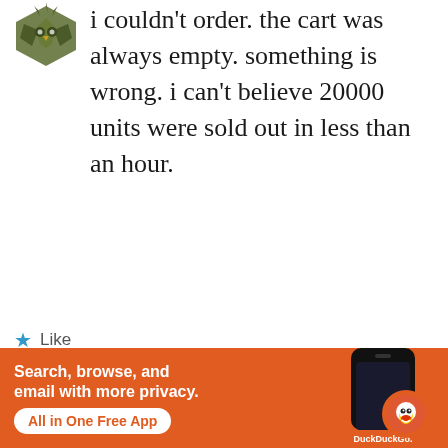[Figure (logo): User avatar icon - dark olive/green geometric owl or badge shape]
i couldn't order. the cart was always empty. something is wrong. i can't believe 20000 units were sold out in less than an hour.
★ Like
REPLY
Advertisements
[Figure (screenshot): Dark navy advertisement banner showing 'Opinions.' text with WordPress and WM logos]
Advertisements
[Figure (screenshot): DuckDuckGo advertisement with orange background. Text: Search, browse, and email with more privacy. All in One Free App. Shows phone with DuckDuckGo logo.]